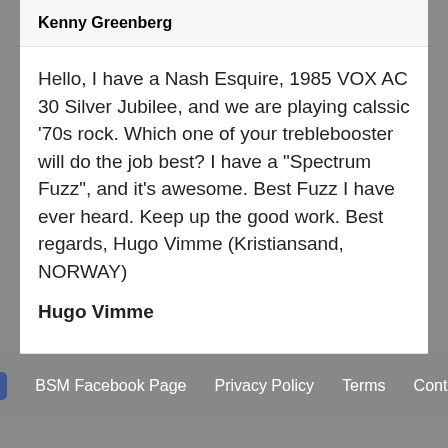Kenny Greenberg
Hello, I have a Nash Esquire, 1985 VOX AC 30 Silver Jubilee, and we are playing calssic '70s rock. Which one of your treblebooster will do the job best? I have a "Spectrum Fuzz", and it's awesome. Best Fuzz I have ever heard. Keep up the good work. Best regards, Hugo Vimme (Kristiansand, NORWAY)
Hugo Vimme
BSM Facebook Page   Privacy Policy   Terms   Contact